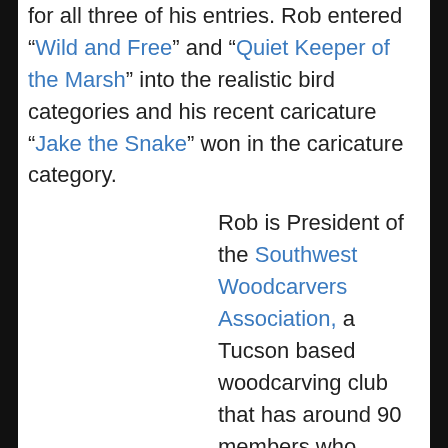for all three of his entries. Rob entered “Wild and Free” and “Quiet Keeper of the Marsh” into the realistic bird categories and his recent caricature “Jake the Snake” won in the caricature category.
Rob is President of the Southwest Woodcarvers Association, a Tucson based woodcarving club that has around 90 members who frequently undertake club projects.
This year the Club decided to carve Eagle Head canes and donate them to the “wounded warriors” at the Veterans Hospital in Tucson. Rob instructed the carving and painting of 23